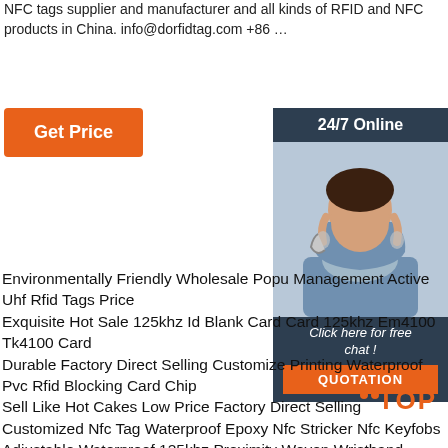NFC tags supplier and manufacturer and all kinds of RFID and NFC products in China. info@dorfidtag.com +86 …
[Figure (other): Orange 'Get Price' button]
[Figure (photo): Customer service agent photo with '24/7 Online' header, 'Click here for free chat!' text, and orange 'QUOTATION' button on dark blue sidebar]
Environmentally Friendly Wholesale Popu Management Active Uhf Rfid Tags Price Exquisite Hot Sale 125khz Id Blank Card Card 125khz Em4100 Tk4100 Card Durable Factory Direct Selling Customize Printing Waterproof Pvc Rfid Blocking Card Chip Sell Like Hot Cakes Low Price Factory Direct Selling Customized Nfc Tag Waterproof Epoxy Nfc Stricker Nfc Keyfobs Adjustable Waterproof 125khz Proximity Woven Wristband Small Pvc Tag Festival Nylon Rfid Wristband
[Figure (logo): TOP badge in orange with decorative dots]